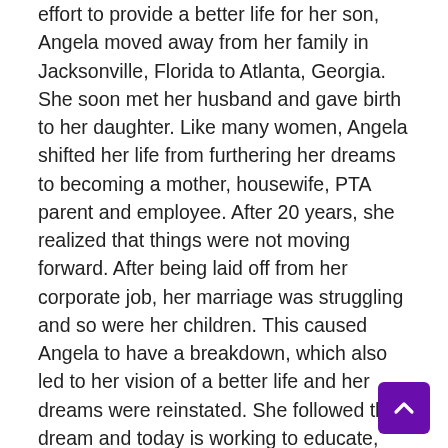effort to provide a better life for her son, Angela moved away from her family in Jacksonville, Florida to Atlanta, Georgia. She soon met her husband and gave birth to her daughter. Like many women, Angela shifted her life from furthering her dreams to becoming a mother, housewife, PTA parent and employee. After 20 years, she realized that things were not moving forward. After being laid off from her corporate job, her marriage was struggling and so were her children. This caused Angela to have a breakdown, which also led to her vision of a better life and her dreams were reinstated. She followed the dream and today is working to educate, motivate and prove to others that they can do the same. From single mother to hosting her own talk/radio shows, The Angela Foxworth Show, Hot Wife Hot Life and Unzipped Conversations – Unleashing the Naked Truth, from housewife to Mrs. Georgia Woman US Majesty 2019, from laid off employee to co-author of Real Talk, an Intimate Discussion of Life, Love and Relationships and The Pain Behind a Smile, Angela Foxworth proves that anyone can change their lives, pick up and live their dreams and change the world for the better as well.